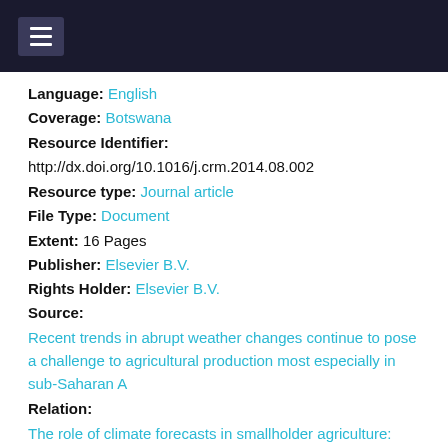☰
Language: English
Coverage: Botswana
Resource Identifier:
http://dx.doi.org/10.1016/j.crm.2014.08.002
Resource type: Journal article
File Type: Document
Extent: 16 Pages
Publisher: Elsevier B.V.
Rights Holder: Elsevier B.V.
Source:
Recent trends in abrupt weather changes continue to pose a challenge to agricultural production most especially in sub-Saharan A
Relation:
The role of climate forecasts in smallholder agriculture: Lessons from participatory research in two communities in Senegal
Recent trends in abrupt weather changes continue to